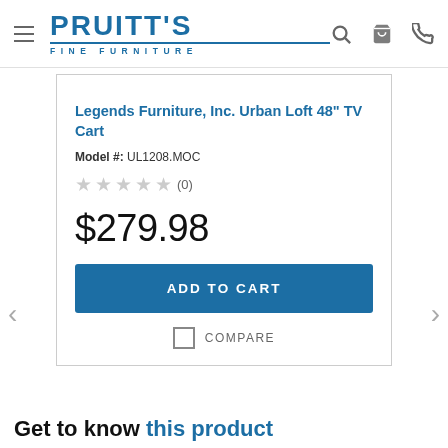PRUITT'S FINE FURNITURE
Legends Furniture, Inc. Urban Loft 48" TV Cart
Model #: UL1208.MOC
★★★★★ (0)
$279.98
ADD TO CART
COMPARE
Get to know this product